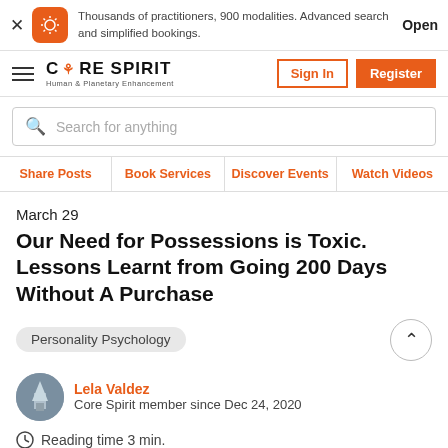Thousands of practitioners, 900 modalities. Advanced search and simplified bookings. Open
CORE SPIRIT Human & Planetary Enhancement — Sign In | Register
Search for anything
Share Posts | Book Services | Discover Events | Watch Videos
March 29
Our Need for Possessions is Toxic. Lessons Learnt from Going 200 Days Without A Purchase
Personality Psychology
Lela Valdez
Core Spirit member since Dec 24, 2020
Reading time 3 min.